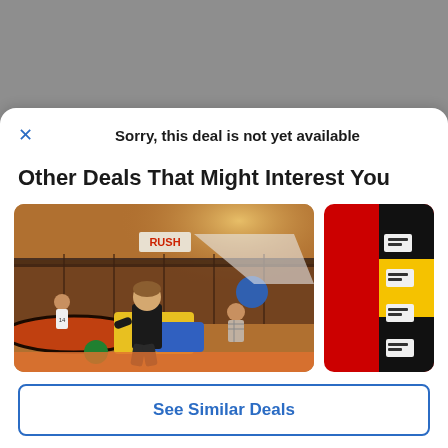Sorry, this deal is not yet available
Other Deals That Might Interest You
[Figure (photo): Indoor trampoline park with children jumping; RUSH branding visible on wall. Orange, yellow, blue equipment and trampolines. Partially visible second image of red/yellow/black wall panels.]
See Similar Deals